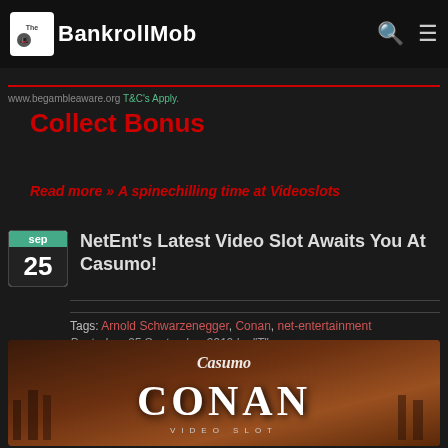The BankrollMob
www.begambleaware.org T&C's Apply.
Collect Bonus
Read more » A spinechilling time at Videoslots
NetEnt's Latest Video Slot Awaits You At Casumo!
Tags: Arnold Schwarzenegger, Conan, net-entertainment
Posted on 25 September 2019 by "T".
[Figure (photo): Conan Video Slot promotional image with Casumo logo, showing 'CONAN VIDEO SLOT' text on a dark reddish-brown background with silhouette figures]